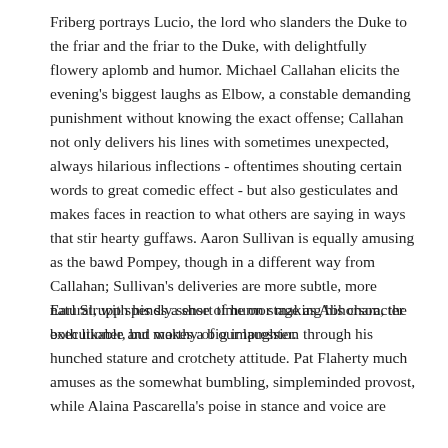Friberg portrays Lucio, the lord who slanders the Duke to the friar and the friar to the Duke, with delightfully flowery aplomb and humor. Michael Callahan elicits the evening's biggest laughs as Elbow, a constable demanding punishment without knowing the exact offense; Callahan not only delivers his lines with sometimes unexpected, always hilarious inflections - oftentimes shouting certain words to great comedic effect - but also gesticulates and makes faces in reaction to what others are saying in ways that stir hearty guffaws. Aaron Sullivan is equally amusing as the bawd Pompey, though in a different way from Callahan; Sullivan's deliveries are more subtle, more natural, with his sly sense of humor making his character both likable and worthy of our laughter.
Earl Strupp spends a short time on stage as Abhorson, the executioner, but makes a big impression through his hunched stature and crotchety attitude. Pat Flaherty much amuses as the somewhat bumbling, simpleminded provost, while Alaina Pascarella's poise in stance and voice are